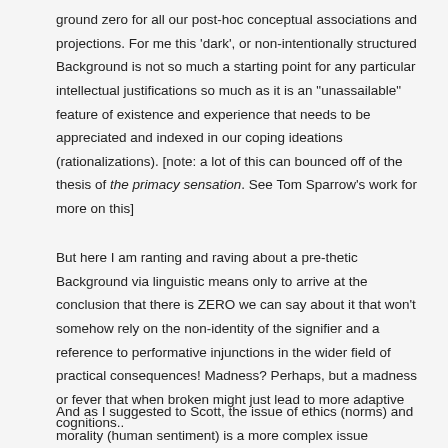ground zero for all our post-hoc conceptual associations and projections. For me this 'dark', or non-intentionally structured Background is not so much a starting point for any particular intellectual justifications so much as it is an "unassailable" feature of existence and experience that needs to be appreciated and indexed in our coping ideations (rationalizations). [note: a lot of this can bounced off of the thesis of the primacy sensation. See Tom Sparrow's work for more on this]
But here I am ranting and raving about a pre-thetic Background via linguistic means only to arrive at the conclusion that there is ZERO we can say about it that won't somehow rely on the non-identity of the signifier and a reference to performative injunctions in the wider field of practical consequences! Madness? Perhaps, but a madness or fever that when broken might just lead to more adaptive cognitions..
And as I suggested to Scott, the issue of ethics (norms) and morality (human sentiment) is a more complex issue involving